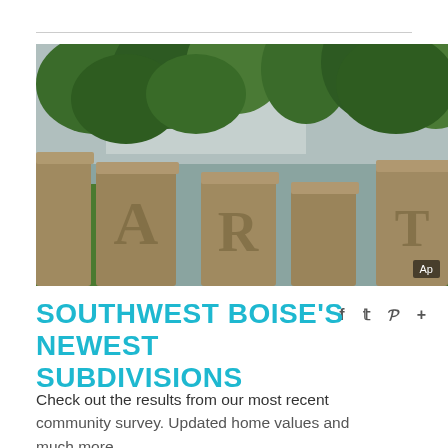[Figure (photo): Stone monument letters spelling out partial text, surrounded by green trees and cloudy sky — entrance sign for a Boise subdivision]
SOUTHWEST BOISE'S NEWEST SUBDIVISIONS
Check out the results from our most recent community survey. Updated home values and much more.